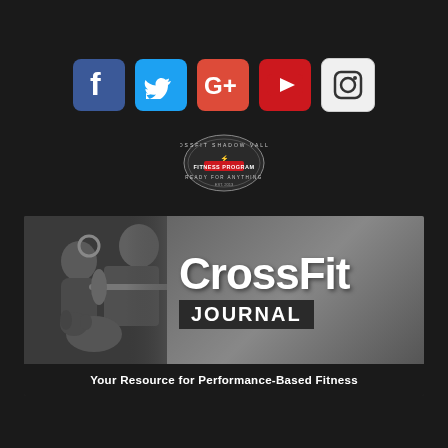[Figure (infographic): Five social media icons in a row: Facebook (blue f), Twitter (blue bird), Google+ (red G+), YouTube (red play button), Instagram (white camera)]
[Figure (logo): CrossFit Shadow Valley circular badge logo with text 'READY FOR ANYTHING']
[Figure (photo): CrossFit Journal banner image showing athletes lifting weights with a dog, overlaid with 'CrossFit JOURNAL' title and subtitle 'Your Resource for Performance-Based Fitness']